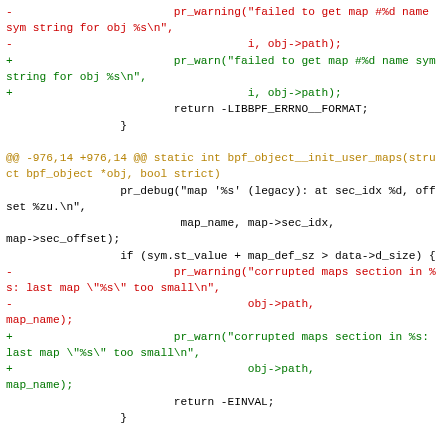[Figure (screenshot): A code diff snippet showing changes to BPF object map initialization code, with red lines (removals) and green lines (additions), and orange hunk headers.]